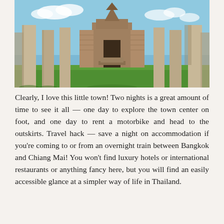[Figure (photo): Ancient Thai temple ruins with tall stone columns and brick structures against a blue sky, green grass in foreground — likely Sukhothai or Lopburi historical park]
Clearly, I love this little town! Two nights is a great amount of time to see it all — one day to explore the town center on foot, and one day to rent a motorbike and head to the outskirts. Travel hack — save a night on accommodation if you're coming to or from an overnight train between Bangkok and Chiang Mai! You won't find luxury hotels or international restaurants or anything fancy here, but you will find an easily accessible glance at a simpler way of life in Thailand.